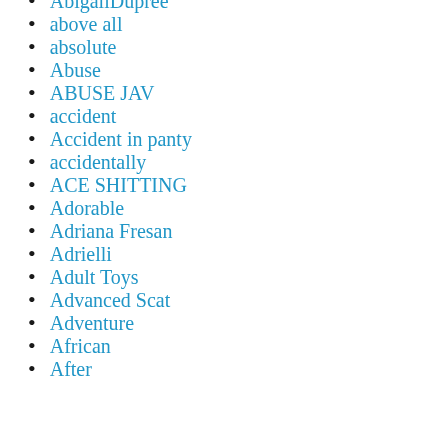AbigailDupree
above all
absolute
Abuse
ABUSE JAV
accident
Accident in panty
accidentally
ACE SHITTING
Adorable
Adriana Fresan
Adrielli
Adult Toys
Advanced Scat
Adventure
African
After